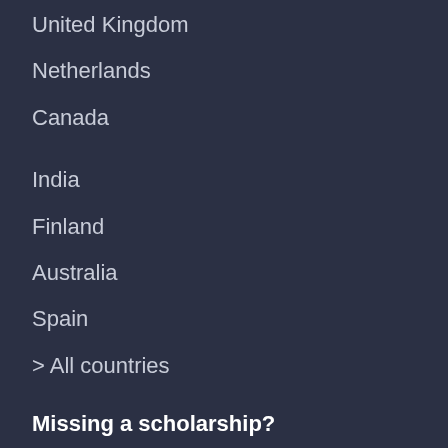United Kingdom
Netherlands
Canada
India
Finland
Australia
Spain
> All countries
Missing a scholarship?
Get your scholarship listed
Other pages